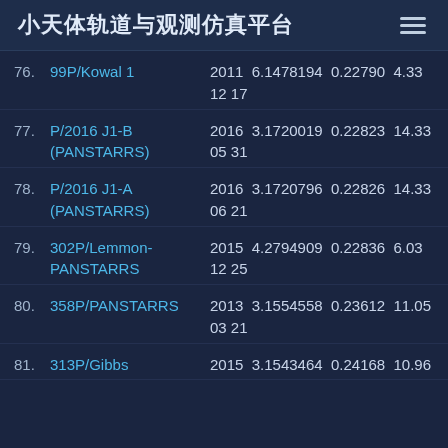小天体轨道与观测仿真平台
76. 99P/Kowal 1  2011  6.1478194  0.22790  4.33  12 17
77. P/2016 J1-B (PANSTARRS)  2016  3.1720019  0.22823  14.33  05 31
78. P/2016 J1-A (PANSTARRS)  2016  3.1720796  0.22826  14.33  06 21
79. 302P/Lemmon-PANSTARRS  2015  4.2794909  0.22836  6.03  12 25
80. 358P/PANSTARRS  2013  3.1554558  0.23612  11.05  03 21
81. 313P/Gibbs  2015  3.1543464  0.24168  10.96